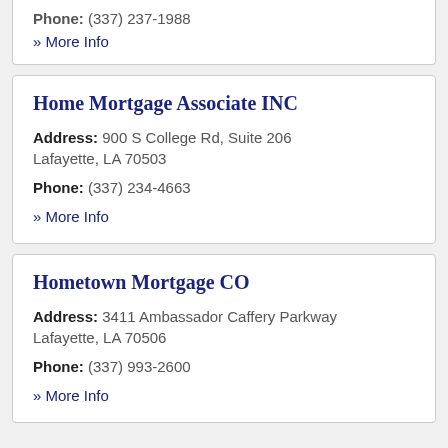Phone: (337) 237-1988
» More Info
Home Mortgage Associate INC
Address: 900 S College Rd, Suite 206 Lafayette, LA 70503
Phone: (337) 234-4663
» More Info
Hometown Mortgage CO
Address: 3411 Ambassador Caffery Parkway Lafayette, LA 70506
Phone: (337) 993-2600
» More Info